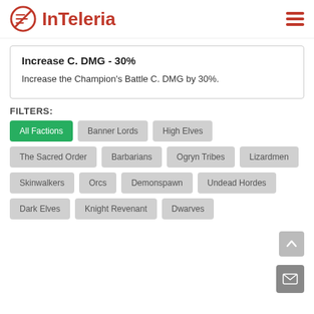InTeleria
Increase C. DMG - 30%
Increase the Champion's Battle C. DMG by 30%.
FILTERS:
All Factions
Banner Lords
High Elves
The Sacred Order
Barbarians
Ogryn Tribes
Lizardmen
Skinwalkers
Orcs
Demonspawn
Undead Hordes
Dark Elves
Knight Revenant
Dwarves